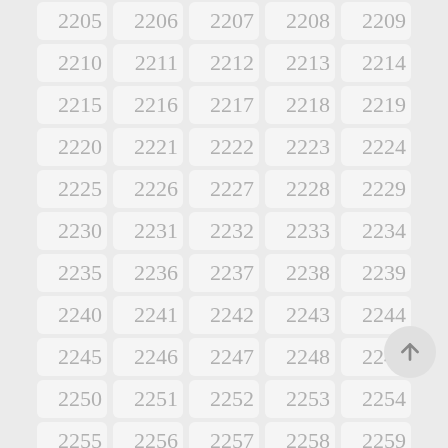[Figure (other): Grid of numbered cells from 2205 to 2259, arranged in 5 columns and 12 rows, with a circular up-arrow navigation button on the right side.]